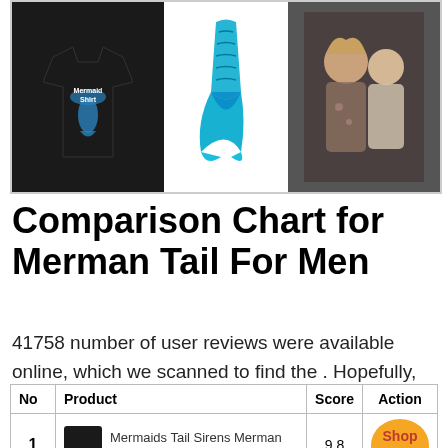[Figure (photo): Three product images side by side: a mermaid-themed black t-shirt on the left, a blue mermaid tail in the center, and two people in the right panel]
Comparison Chart for Merman Tail For Men
41758 number of user reviews were available online, which we scanned to find the . Hopefully, our experts suggestions available in this article will help you find your ideal choice.
| No | Product | Score | Action |
| --- | --- | --- | --- |
| 1 | Mermaids Tail Sirens Merman Sea Mermaiding Birthday Daddy | 9.8 | Shop On |